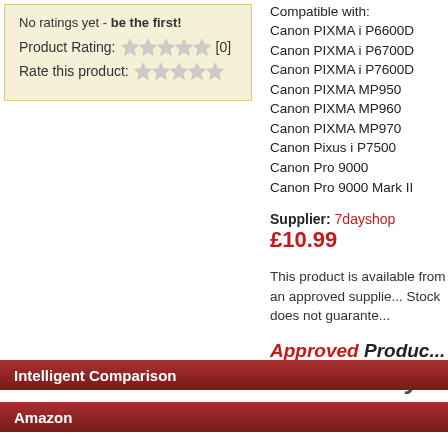No ratings yet - be the first!
Product Rating: [0]
Rate this product:
Compatible with:
Canon PIXMA i P6600D
Canon PIXMA i P6700D
Canon PIXMA i P7600D
Canon PIXMA MP950
Canon PIXMA MP960
Canon PIXMA MP970
Canon Pixus i P7500
Canon Pro 9000
Canon Pro 9000 Mark II
Supplier: 7dayshop
£10.99
This product is available from an approved supplier. Stock does not guarantee...
Approved Product Click to Buy
Intelligent Comparison
Amazon